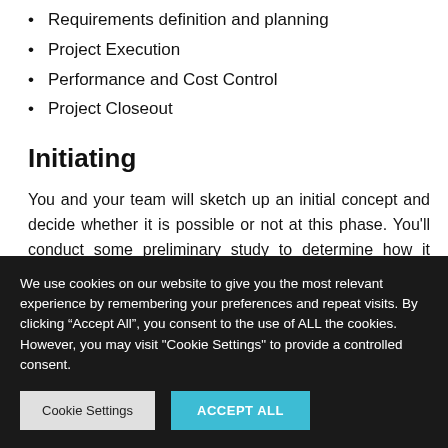Requirements definition and planning
Project Execution
Performance and Cost Control
Project Closeout
Initiating
You and your team will sketch up an initial concept and decide whether it is possible or not at this phase. You'll conduct some preliminary study to determine how it should be accomplished, then present it for review and
We use cookies on our website to give you the most relevant experience by remembering your preferences and repeat visits. By clicking “Accept All”, you consent to the use of ALL the cookies. However, you may visit "Cookie Settings" to provide a controlled consent.